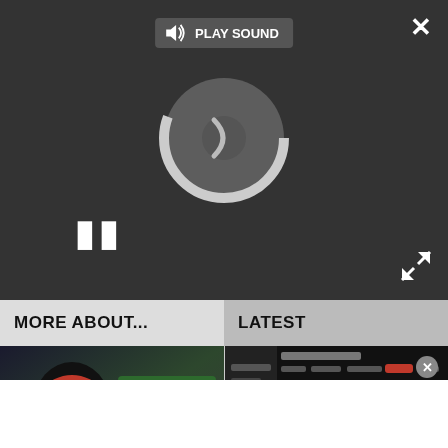[Figure (screenshot): Dark media player with spinning loader, pause button, play sound button, and close/expand controls]
MORE ABOUT...
LATEST
[Figure (photo): Person wearing HyperX Cloud II red gaming headset with laptop showing game]
The HyperX Cloud II gaming headset works with Xbox and PC and
[Figure (screenshot): Xbox Games & Apps library interface with game thumbnails and EA Play section]
Xbox has revamped the Games & Apps library with a new interface ▶